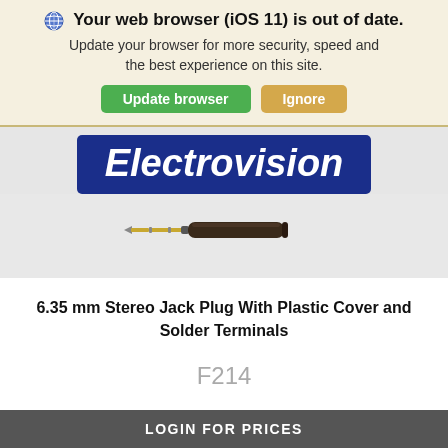🌐 Your web browser (iOS 11) is out of date. Update your browser for more security, speed and the best experience on this site.
Update browser | Ignore
[Figure (logo): Electrovision logo — blue rounded rectangle with white italic bold text]
[Figure (photo): 6.35mm stereo jack plug with gold tip and black plastic barrel/cover]
6.35 mm Stereo Jack Plug With Plastic Cover and Solder Terminals
F214
LOGIN FOR PRICES